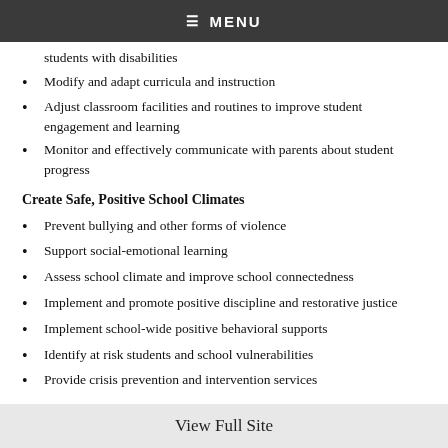≡ MENU
students with disabilities
Modify and adapt curricula and instruction
Adjust classroom facilities and routines to improve student engagement and learning
Monitor and effectively communicate with parents about student progress
Create Safe, Positive School Climates
Prevent bullying and other forms of violence
Support social-emotional learning
Assess school climate and improve school connectedness
Implement and promote positive discipline and restorative justice
Implement school-wide positive behavioral supports
Identify at risk students and school vulnerabilities
Provide crisis prevention and intervention services
Strengthen Family School Partnerships
View Full Site